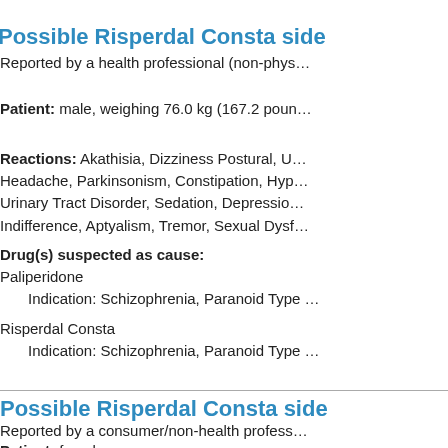Possible Risperdal Consta side
Reported by a health professional (non-phys…
Patient: male, weighing 76.0 kg (167.2 poun…
Reactions: Akathisia, Dizziness Postural, U… Headache, Parkinsonism, Constipation, Hyp… Urinary Tract Disorder, Sedation, Depressio… Indifference, Aptyalism, Tremor, Sexual Dysf…
Drug(s) suspected as cause:
Paliperidone
    Indication: Schizophrenia, Paranoid Type
Risperdal Consta
    Indication: Schizophrenia, Paranoid Type
Possible Risperdal Consta side
Reported by a consumer/non-health profess…
Patient: female